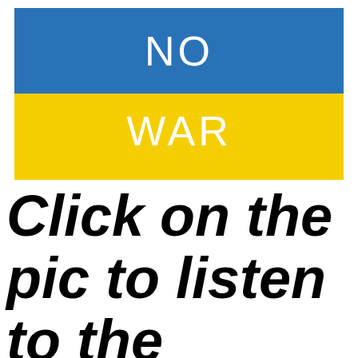[Figure (illustration): Ukrainian flag with two horizontal bands — blue on top and yellow on bottom — with text 'NO' in white on the blue band and 'WAR' in white on the yellow band.]
Click on the pic to listen to the